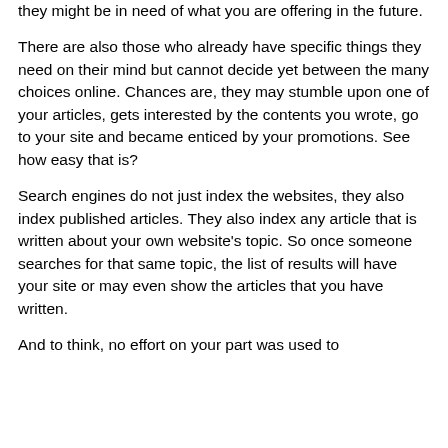they might be in need of what you are offering in the future.
There are also those who already have specific things they need on their mind but cannot decide yet between the many choices online. Chances are, they may stumble upon one of your articles, gets interested by the contents you wrote, go to your site and became enticed by your promotions. See how easy that is?
Search engines do not just index the websites, they also index published articles. They also index any article that is written about your own website's topic. So once someone searches for that same topic, the list of results will have your site or may even show the articles that you have written.
And to think, no effort on your part was used to